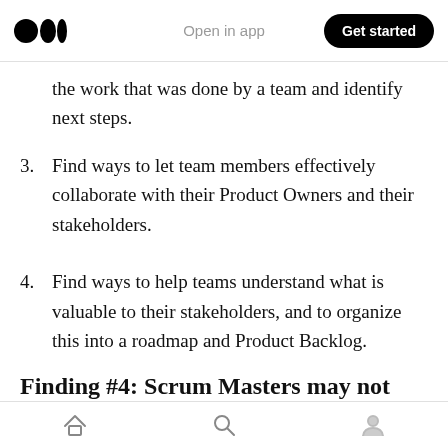Medium logo | Open in app | Get started
the work that was done by a team and identify next steps.
3. Find ways to let team members effectively collaborate with their Product Owners and their stakeholders.
4. Find ways to help teams understand what is valuable to their stakeholders, and to organize this into a roadmap and Product Backlog.
Finding #4: Scrum Masters may not
Home | Search | Profile